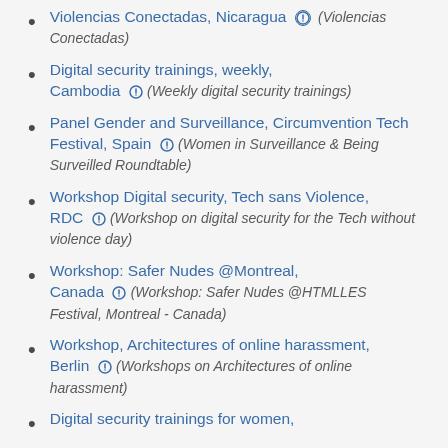Violencias Conectadas, Nicaragua + (Violencias Conectadas)
Digital security trainings, weekly, Cambodia + (Weekly digital security trainings)
Panel Gender and Surveillance, Circumvention Tech Festival, Spain + (Women in Surveillance & Being Surveilled Roundtable)
Workshop Digital security, Tech sans Violence, RDC + (Workshop on digital security for the Tech without violence day)
Workshop: Safer Nudes @Montreal, Canada + (Workshop: Safer Nudes @HTMLLES Festival, Montreal - Canada)
Workshop, Architectures of online harassment, Berlin + (Workshops on Architectures of online harassment)
Digital security trainings for women,